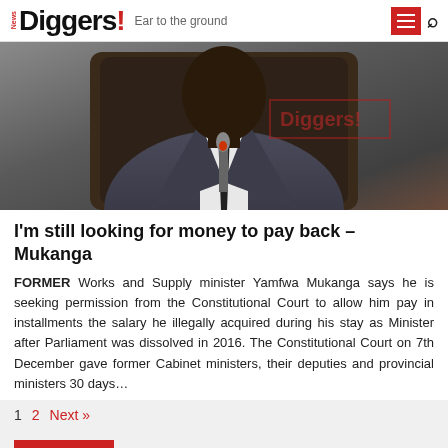News Diggers! — Ear to the ground
[Figure (photo): Photo of a man in a dark suit sitting at a desk with a microphone, with a Diggers! watermark overlay]
I'm still looking for money to pay back – Mukanga
FORMER Works and Supply minister Yamfwa Mukanga says he is seeking permission from the Constitutional Court to allow him pay in installments the salary he illegally acquired during his stay as Minister after Parliament was dissolved in 2016. The Constitutional Court on 7th December gave former Cabinet ministers, their deputies and provincial ministers 30 days…
1   2  Next »
TRENDING
POPULAR   COMMENTED   LATEST